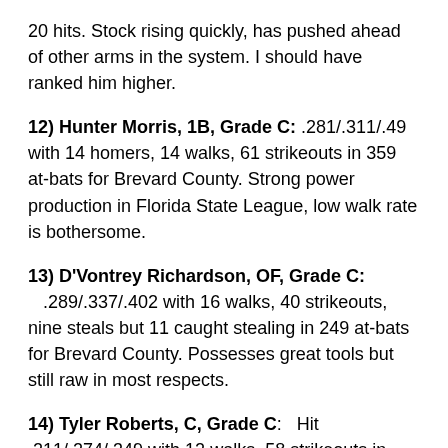20 hits. Stock rising quickly, has pushed ahead of other arms in the system. I should have ranked him higher.
12) Hunter Morris, 1B, Grade C: .281/.311/.49 with 14 homers, 14 walks, 61 strikeouts in 359 at-bats for Brevard County. Strong power production in Florida State League, low walk rate is bothersome.
13) D'Vontrey Richardson, OF, Grade C: .289/.337/.402 with 16 walks, 40 strikeouts, nine steals but 11 caught stealing in 249 at-bats for Brevard County. Possesses great tools but still raw in most respects.
14) Tyler Roberts, C, Grade C: Hit .211/.274/.349 with 12 walks, 58 strikeouts in 152 at-bats for Wisconsin. Demoted to Helena in Pioneer League,